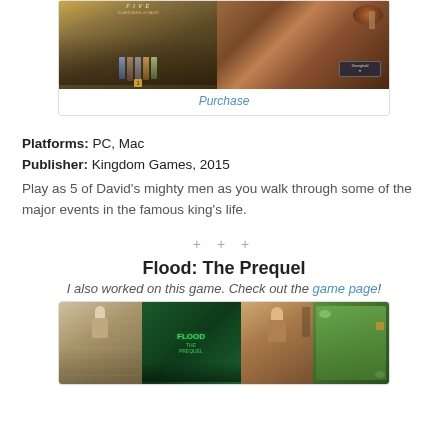[Figure (screenshot): Game card with two screenshots: left shows Five Guardians of David cover art with medieval characters, right shows gameplay screenshot with landscape and UI overlay. Below is a Purchase link.]
Platforms: PC, Mac
Publisher: Kingdom Games, 2015
Play as 5 of David's mighty men as you walk through some of the major events in the famous king's life.
+ + +
Flood: The Prequel
I also worked on this game. Check out the game page!
[Figure (screenshot): Flood: The Prequel game card showing multiple screenshots: female character, Flood The Prequel title screen, character portraits, and map/overhead view.]